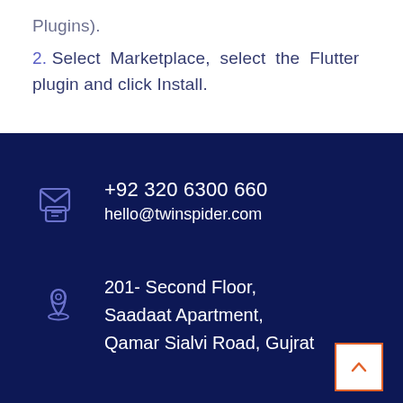Plugins).
2. Select Marketplace, select the Flutter plugin and click Install.
+92 320 6300 660
hello@twinspider.com
201- Second Floor,
Saadaat Apartment,
Qamar Sialvi Road, Gujrat